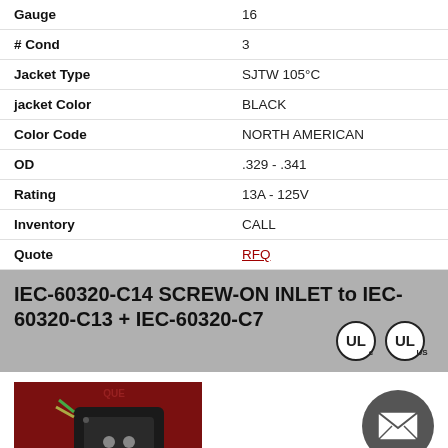| Property | Value |
| --- | --- |
| Gauge | 16 |
| # Cond | 3 |
| Jacket Type | SJTW 105°C |
| jacket Color | BLACK |
| Color Code | NORTH AMERICAN |
| OD | .329 - .341 |
| Rating | 13A - 125V |
| Inventory | CALL |
| Quote | RFQ |
IEC-60320-C14 SCREW-ON INLET to IEC-60320-C13 + IEC-60320-C7
[Figure (photo): IEC-60320-C14 screw-on inlet connector product photo on dark red background]
[Figure (logo): UL certification logos (cUL and UL US)]
[Figure (other): Email contact button (envelope icon on dark circle)]